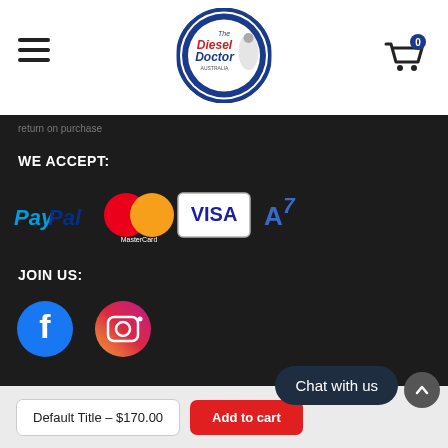[Figure (logo): The Diesel Doctor Australia logo — circular navy border with text 'The Diesel Doctor' and a figure illustration]
[Figure (logo): Shopping cart icon with badge showing 0]
WE ACCEPT:
[Figure (illustration): Payment method logos: PayPal, MasterCard, VISA, and another payment brand (A7 style logo)]
JOIN US:
[Figure (illustration): Social media icons: Facebook (blue circle with f) and Instagram (gradient circle with camera icon)]
Chat with us
Default Title - $170.00
Add to cart